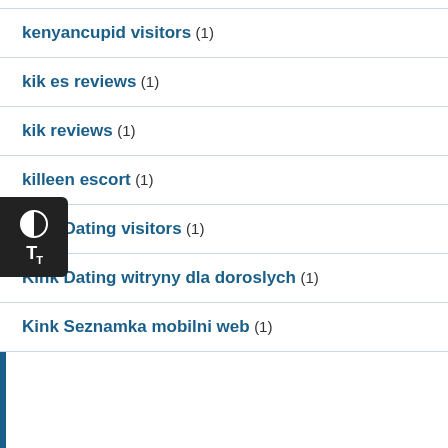kenyancupid visitors (1)
kik es reviews (1)
kik reviews (1)
killeen escort (1)
Kink Dating visitors (1)
Kink Dating witryny dla doroslych (1)
Kink Seznamka mobilni web (1)